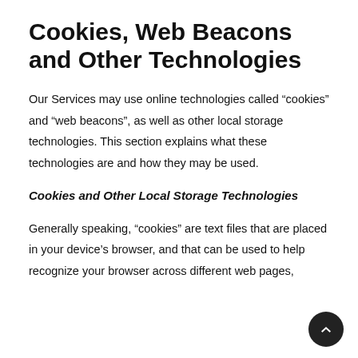Cookies, Web Beacons and Other Technologies
Our Services may use online technologies called “cookies” and “web beacons”, as well as other local storage technologies. This section explains what these technologies are and how they may be used.
Cookies and Other Local Storage Technologies
Generally speaking, “cookies” are text files that are placed in your device’s browser, and that can be used to help recognize your browser across different web pages,